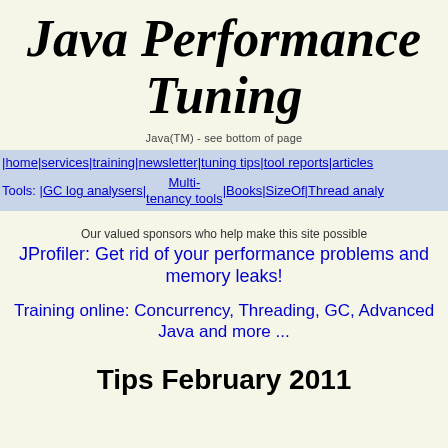Java Performance Tuning
Java(TM) - see bottom of page
| home | services | training | newsletter | tuning tips | tool reports | articles
Tools: | GC log analysers | Multi-tenancy tools | Books | SizeOf | Thread analy
Our valued sponsors who help make this site possible
JProfiler: Get rid of your performance problems and memory leaks!
Training online: Concurrency, Threading, GC, Advanced Java and more ...
Tips February 2011